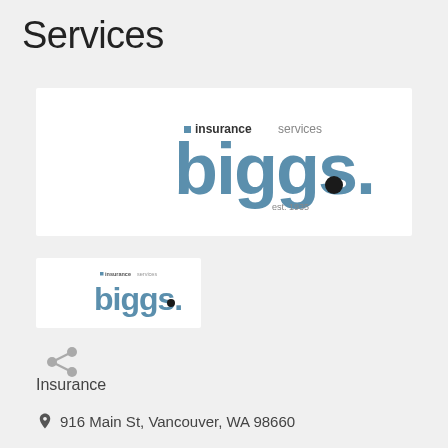Services
[Figure (logo): Biggs Insurance Services logo — large version with 'insuranceservices' above 'biggs.' in steel blue, and 'est. 1935' below, on white background]
[Figure (logo): Biggs Insurance Services logo — small version, same design on white background]
[Figure (other): Share icon — grey network/share symbol]
Insurance
916 Main St, Vancouver, WA 98660